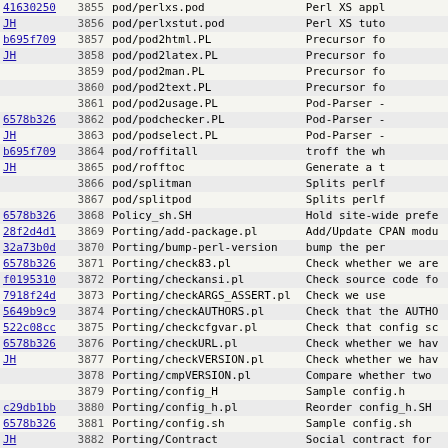| hash | num | file | description |
| --- | --- | --- | --- |
| 41630250 | 3855 | pod/perlxs.pod | Perl XS appl |
| JH | 3856 | pod/perlxstut.pod | Perl XS tuto |
| b695f709 | 3857 | pod/pod2html.PL | Precursor fo |
| JH | 3858 | pod/pod2latex.PL | Precursor fo |
|  | 3859 | pod/pod2man.PL | Precursor fo |
|  | 3860 | pod/pod2text.PL | Precursor fo |
|  | 3861 | pod/pod2usage.PL | Pod-Parser - |
| 6578b326 | 3862 | pod/podchecker.PL | Pod-Parser - |
| JH | 3863 | pod/podselect.PL | Pod-Parser - |
| b695f709 | 3864 | pod/roffitall | troff the wh |
| JH | 3865 | pod/rofftoc | Generate a t |
|  | 3866 | pod/splitman | Splits perlf |
|  | 3867 | pod/splitpod | Splits perlf |
| 6578b326 | 3868 | Policy_sh.SH | Hold site-wide prefe |
| 28f2d4d1 | 3869 | Porting/add-package.pl | Add/Update CPAN modu |
| 32a73b0d | 3870 | Porting/bump-perl-version | bump the per |
| 6578b326 | 3871 | Porting/check83.pl | Check whether we are |
| f0195310 | 3872 | Porting/checkansi.pl | Check source code fo |
| 7918f24d | 3873 | Porting/checkARGS_ASSERT.pl | Check we use |
| 5649b9c9 | 3874 | Porting/checkAUTHORS.pl | Check that the AUTHO |
| 522c08cc | 3875 | Porting/checkcfgvar.pl | Check that config sc |
| 6578b326 | 3876 | Porting/checkURL.pl | Check whether we hav |
| JH | 3877 | Porting/checkVERSION.pl | Check whether we hav |
|  | 3878 | Porting/cmpVERSION.pl | Compare whether two |
|  | 3879 | Porting/config_H | Sample config.h |
| c29db1bb | 3880 | Porting/config_h.pl | Reorder config_h.SH |
| 6578b326 | 3881 | Porting/config.sh | Sample config.sh |
| JH | 3882 | Porting/Contract | Social contract for |
| cb097e7a | 3883 | Porting/core-cpan-diff | Compare core distros |
| e0eb806d | 3884 | Porting/corecpan.pl | Reports outdated dua |
| 4a656c5e | 3885 | Porting/corelist.pl | Generates data for M |
| 6578b326 | 3886 | Porting/curliff.pl | Curliff or liff your |